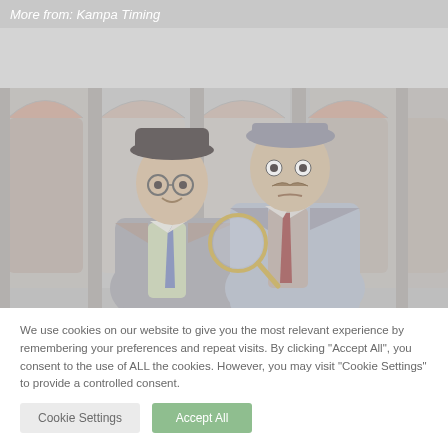More from: Kampa Timing
[Figure (illustration): Two cartoon men in early 20th century attire standing in front of arched windows. Left man wears glasses, a dark hat, and a blue tie. Right man has a mustache, wears a cap, and has a red tie. A magnifying glass is visible between them. The illustration has a muted, washed-out color palette.]
We use cookies on our website to give you the most relevant experience by remembering your preferences and repeat visits. By clicking "Accept All", you consent to the use of ALL the cookies. However, you may visit "Cookie Settings" to provide a controlled consent.
Cookie Settings
Accept All